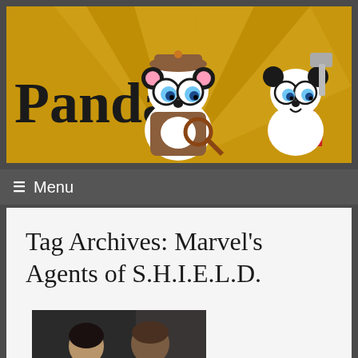[Figure (illustration): Website header banner with golden/yellow background showing two cartoon panda bears — one wearing a detective hat and brown coat holding a magnifying glass, another wearing a red cape holding a hammer (Thor parody). Radiating light beams in background. Text 'Panda' visible on the left in large serif font.]
≡ Menu
Tag Archives: Marvel's Agents of S.H.I.E.L.D.
[Figure (photo): Partial photo showing two people (a woman and a man) in a dark setting appearing to aim guns, likely a scene from Marvel's Agents of S.H.I.E.L.D. television show.]